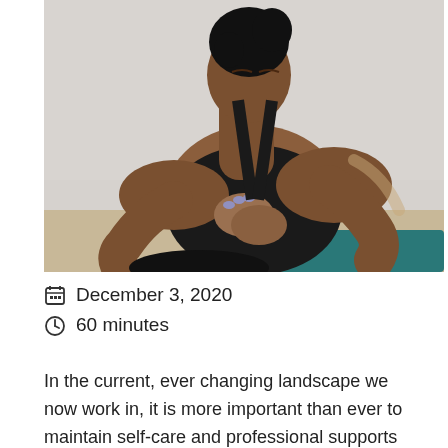[Figure (photo): A Black woman in a black sports bra with eyes closed, hands pressed together in a prayer/namaste pose, appearing to be meditating during a yoga session on a teal mat, photographed against a light gray wall background.]
December 3, 2020
60 minutes
In the current, ever changing landscape we now work in, it is more important than ever to maintain self-care and professional supports